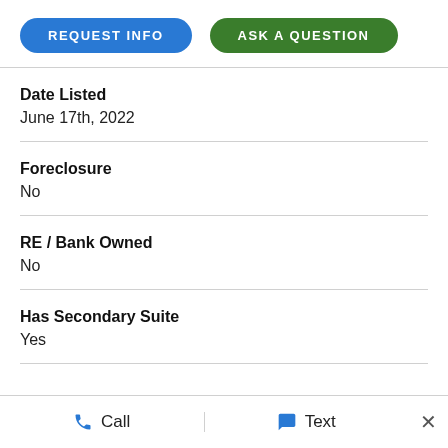[Figure (other): Two buttons: 'REQUEST INFO' (blue rounded) and 'ASK A QUESTION' (green rounded)]
Date Listed
June 17th, 2022
Foreclosure
No
RE / Bank Owned
No
Has Secondary Suite
Yes
Call   Text